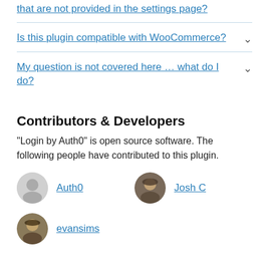that are not provided in the settings page?
Is this plugin compatible with WooCommerce?
My question is not covered here … what do I do?
Contributors & Developers
"Login by Auth0" is open source software. The following people have contributed to this plugin.
Auth0
Josh C
evansims